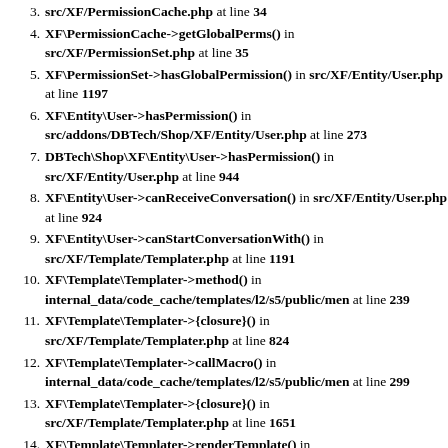3. XF\PermissionCache.php at line 34
4. XF\PermissionCache->getGlobalPerms() in src/XF/PermissionSet.php at line 35
5. XF\PermissionSet->hasGlobalPermission() in src/XF/Entity/User.php at line 1197
6. XF\Entity\User->hasPermission() in src/addons/DBTech/Shop/XF/Entity/User.php at line 273
7. DBTech\Shop\XF\Entity\User->hasPermission() in src/XF/Entity/User.php at line 944
8. XF\Entity\User->canReceiveConversation() in src/XF/Entity/User.php at line 924
9. XF\Entity\User->canStartConversationWith() in src/XF/Template/Templater.php at line 1191
10. XF\Template\Templater->method() in internal_data/code_cache/templates/l2/s5/public/men at line 239
11. XF\Template\Templater->{closure}() in src/XF/Template/Templater.php at line 824
12. XF\Template\Templater->callMacro() in internal_data/code_cache/templates/l2/s5/public/men at line 299
13. XF\Template\Templater->{closure}() in src/XF/Template/Templater.php at line 1651
14. XF\Template\Templater->renderTemplate() in